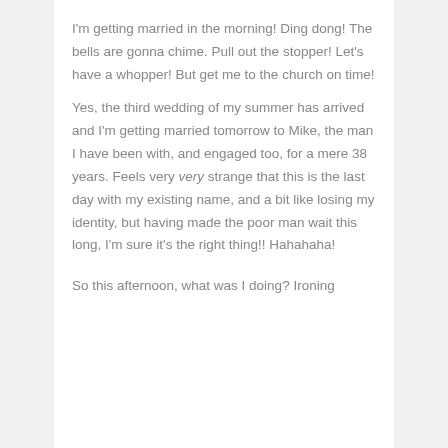I'm getting married in the morning! Ding dong! The bells are gonna chime. Pull out the stopper! Let's have a whopper! But get me to the church on time!
Yes, the third wedding of my summer has arrived and I'm getting married tomorrow to Mike, the man I have been with, and engaged too, for a mere 38 years. Feels very very strange that this is the last day with my existing name, and a bit like losing my identity, but having made the poor man wait this long, I'm sure it's the right thing!! Hahahaha!
So this afternoon, what was I doing? Ironing